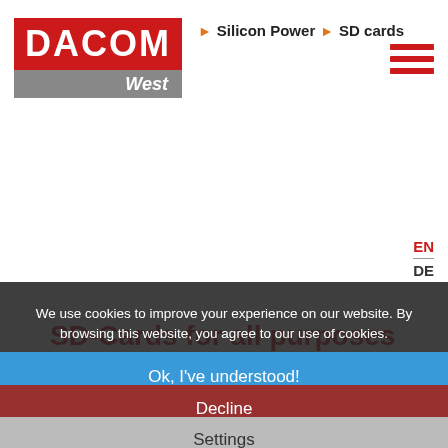DACOM West — Silicon Power › SD cards
SD-Cards for all purposes
Silicon Powers' SD-cards are compliant to the SD specification 3.0 and are backwards compatible to the SD 2.0, 1.1 and 1.01. They support the SP Toolbox, SMART health monitoring systems and come with long warr...
We use cookies to improve your experience on our website. By browsing this website, you agree to our use of cookies.
Ok, I've understood!
Decline
Settings
More Info